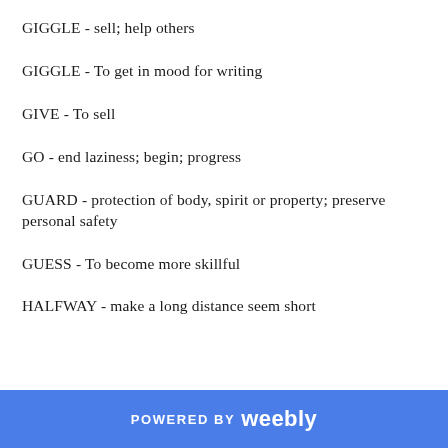GIGGLE - sell; help others
GIGGLE - To get in mood for writing
GIVE - To sell
GO - end laziness; begin; progress
GUARD - protection of body, spirit or property; preserve personal safety
GUESS - To become more skillful
HALFWAY - make a long distance seem short
POWERED BY weebly